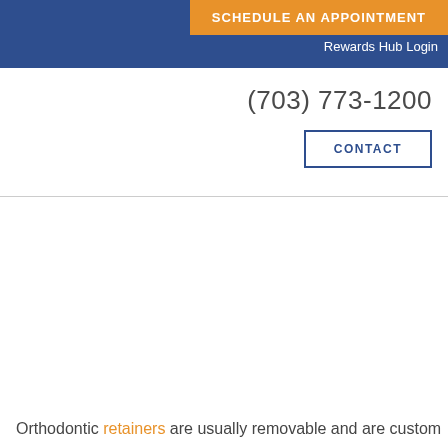SCHEDULE AN APPOINTMENT | Rewards Hub Login
(703) 773-1200
CONTACT
Orthodontic retainers are usually removable and are custom